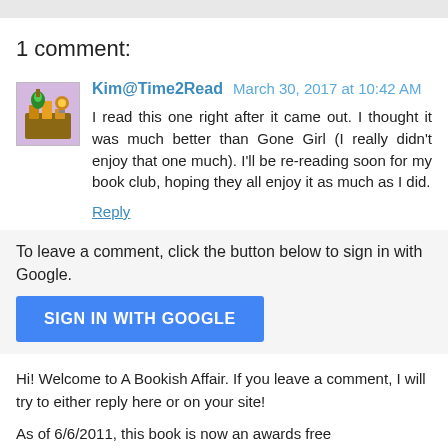1 comment:
Kim@Time2Read March 30, 2017 at 10:42 AM
I read this one right after it came out. I thought it was much better than Gone Girl (I really didn't enjoy that one much). I'll be re-reading soon for my book club, hoping they all enjoy it as much as I did.
Reply
To leave a comment, click the button below to sign in with Google.
[Figure (other): Blue 'SIGN IN WITH GOOGLE' button]
Hi! Welcome to A Bookish Affair. If you leave a comment, I will try to either reply here or on your site!
As of 6/6/2011, this book is now an awards free